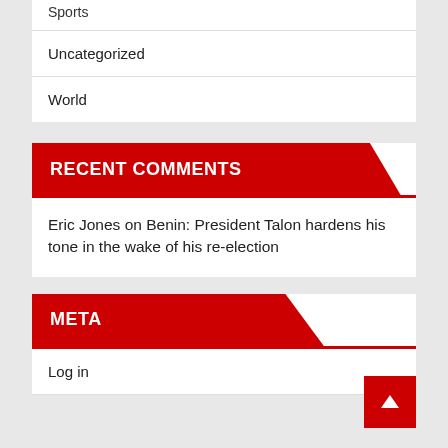Sports
Uncategorized
World
RECENT COMMENTS
Eric Jones on Benin: President Talon hardens his tone in the wake of his re-election
META
Log in